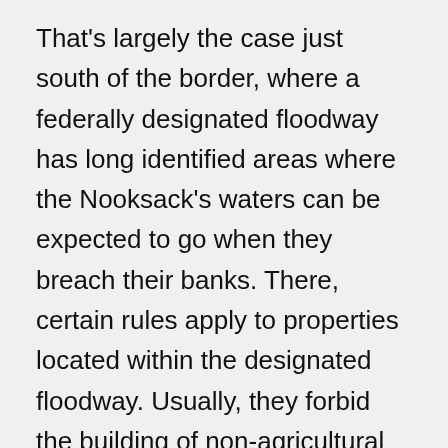That's largely the case just south of the border, where a federally designated floodway has long identified areas where the Nooksack's waters can be expected to go when they breach their banks. There, certain rules apply to properties located within the designated floodway. Usually, they forbid the building of non-agricultural structures that aren't raised above the projected height of floodwaters.